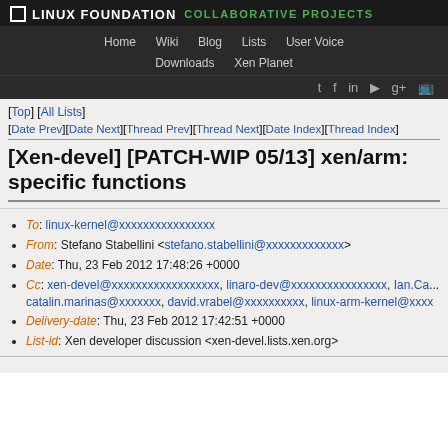LINUX FOUNDATION COLLABORATIVE PROJECTS
Home Wiki Blog Lists User Voice Downloads Xen Planet
[Top] [All Lists]
[Date Prev][Date Next][Thread Prev][Thread Next][Date Index][Thread Index]
[Xen-devel] [PATCH-WIP 05/13] xen/arm: specific functions
To: linux-kernel@xxxxxxxxxxxxxxxx
From: Stefano Stabellini <stefano.stabellini@xxxxxxxxxxxxx>
Date: Thu, 23 Feb 2012 17:48:26 +0000
Cc: xen-devel@xxxxxxxxxxxxxxxxxx, linaro-dev@xxxxxxxxxxxxxxxx, Ian.Ca... catalin.marinas@xxxxxxx, david.vrabel@xxxxxxxxxx, linux-arm-kernel@xxxx
Delivery-date: Thu, 23 Feb 2012 17:42:51 +0000
List-id: Xen developer discussion <xen-devel.lists.xen.org>